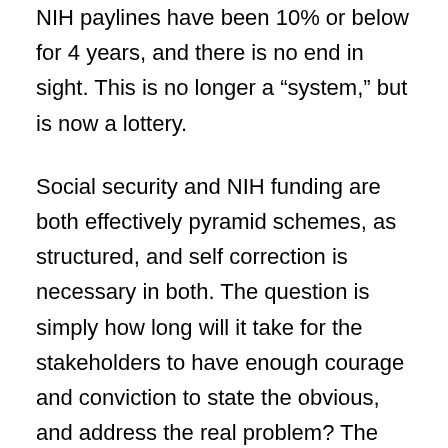NIH paylines have been 10% or below for 4 years, and there is no end in sight. This is no longer a “system,” but is now a lottery.
Social security and NIH funding are both effectively pyramid schemes, as structured, and self correction is necessary in both. The question is simply how long will it take for the stakeholders to have enough courage and conviction to state the obvious, and address the real problem? The report of the ACD meeting squarely indicates that the NIH is not planning to deal with the problem in the immediate future. However, I do note that the NIH’s pig looks pretty good in hot pink lipstick. Good job guys! Go NIH! I have full confidence that the NIH will be issuing more amusing,